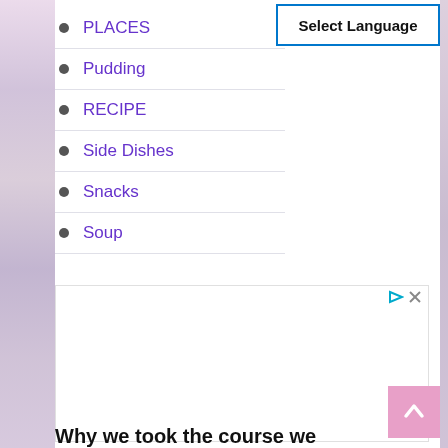Select Language
PLACES
Pudding
RECIPE
Side Dishes
Snacks
Soup
[Figure (other): Advertisement box with play and close icons]
Why we took the course we